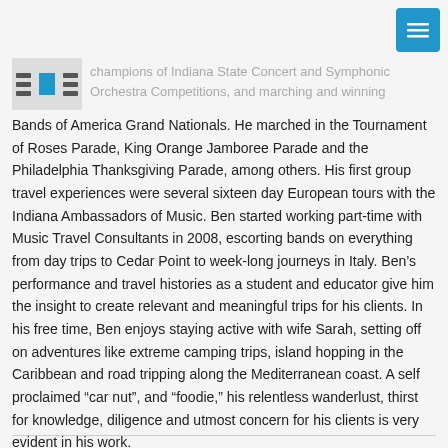[Figure (photo): Small thumbnail image placeholder showing horizontal lines and a blue element, partially visible at top left]
champions of Indiana State Concert and Symphonic Orchestra Competitions, and marching and winning Bands of America Grand Nationals. He marched in the Tournament of Roses Parade, King Orange Jamboree Parade and the Philadelphia Thanksgiving Parade, among others. His first group travel experiences were several sixteen day European tours with the Indiana Ambassadors of Music. Ben started working part-time with Music Travel Consultants in 2008, escorting bands on everything from day trips to Cedar Point to week-long journeys in Italy. Ben's performance and travel histories as a student and educator give him the insight to create relevant and meaningful trips for his clients. In his free time, Ben enjoys staying active with wife Sarah, setting off on adventures like extreme camping trips, island hopping in the Caribbean and road tripping along the Mediterranean coast. A self proclaimed “car nut”, and “foodie,” his relentless wanderlust, thirst for knowledge, diligence and utmost concern for his clients is very evident in his work.